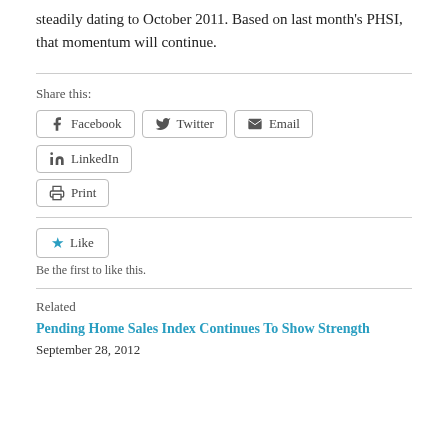steadily dating to October 2011. Based on last month's PHSI, that momentum will continue.
Share this:
Facebook  Twitter  Email  LinkedIn  Print
Like
Be the first to like this.
Related
Pending Home Sales Index Continues To Show Strength
September 28, 2012